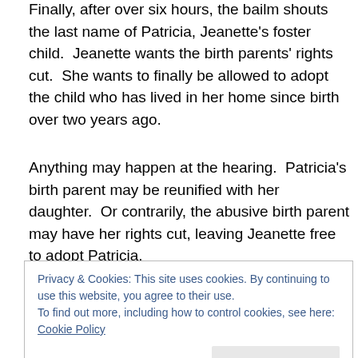Finally, after over six hours, the bailm shouts the last name of Patricia, Jeanette's foster child. Jeanette wants the birth parents' rights cut. She wants to finally be allowed to adopt the child who has lived in her home since birth over two years ago.
Anything may happen at the hearing. Patricia's birth parent may be reunified with her daughter. Or contrarily, the abusive birth parent may have her rights cut, leaving Jeanette free to adopt Patricia.
For accused birth parents, the process goes something
Privacy & Cookies: This site uses cookies. By continuing to use this website, you agree to their use.
To find out more, including how to control cookies, see here: Cookie Policy
Close and accept
you.